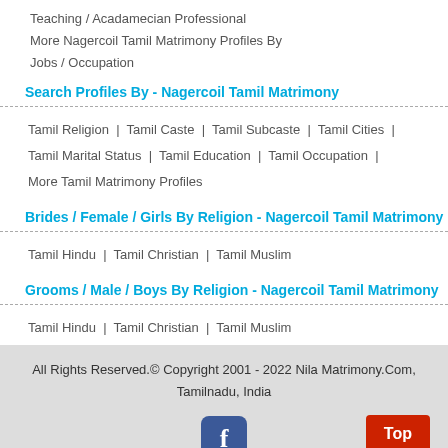Teaching / Acadamecian Professional
More Nagercoil Tamil Matrimony Profiles By Jobs / Occupation
Search Profiles By - Nagercoil Tamil Matrimony
Tamil Religion  |  Tamil Caste  |  Tamil Subcaste  |  Tamil Cities  |  Tamil Marital Status  |  Tamil Education  |  Tamil Occupation  |  More Tamil Matrimony Profiles
Brides / Female / Girls By Religion - Nagercoil Tamil Matrimony
Tamil Hindu  |  Tamil Christian  |  Tamil Muslim
Grooms / Male / Boys By Religion - Nagercoil Tamil Matrimony
Tamil Hindu  |  Tamil Christian  |  Tamil Muslim
All Rights Reserved.© Copyright 2001 - 2022 Nila Matrimony.Com, Tamilnadu, India
Nagercoil Matrimony - Nagercoil Marriage Bureau - Nagercoil